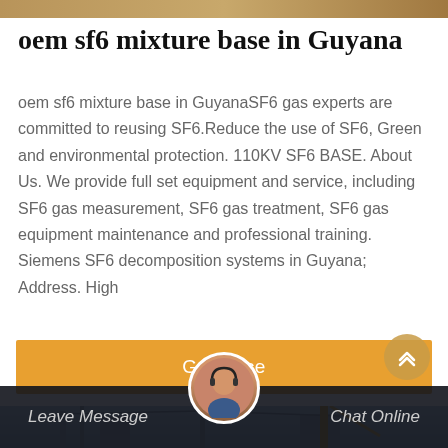[Figure (photo): Top image strip showing industrial/engineering equipment]
oem sf6 mixture base in Guyana
oem sf6 mixture base in GuyanaSF6 gas experts are committed to reusing SF6.Reduce the use of SF6, Green and environmental protection. 110KV SF6 BASE. About Us. We provide full set equipment and service, including SF6 gas measurement, SF6 gas treatment, SF6 gas equipment maintenance and professional training. Siemens SF6 decomposition systems in Guyana; Address. High
[Figure (other): Orange Get Price button]
[Figure (photo): Industrial facility/power plant photograph at bottom of page with dark overlay bar showing Leave Message and Chat Online options with customer service avatar]